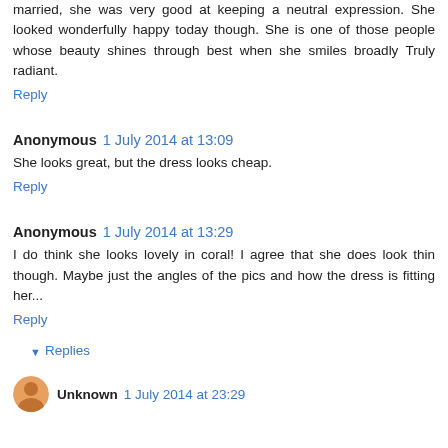married, she was very good at keeping a neutral expression. She looked wonderfully happy today though. She is one of those people whose beauty shines through best when she smiles broadly Truly radiant.
Reply
Anonymous  1 July 2014 at 13:09
She looks great, but the dress looks cheap.
Reply
Anonymous  1 July 2014 at 13:29
I do think she looks lovely in coral! I agree that she does look thin though. Maybe just the angles of the pics and how the dress is fitting her...
Reply
Replies
Unknown  1 July 2014 at 23:29